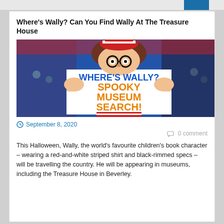Where's Wally? Can You Find Wally At The Treasure House
[Figure (illustration): Where's Wally? Spooky Museum Search promotional image showing cartoon Wally character holding a sign with bold orange and blue text against a colorful busy background.]
September 8, 2020
0 comment
This Halloween, Wally, the world's favourite children's book character – wearing a red-and-white striped shirt and black-rimmed specs – will be travelling the country. He will be appearing in museums, including the Treasure House in Beverley.